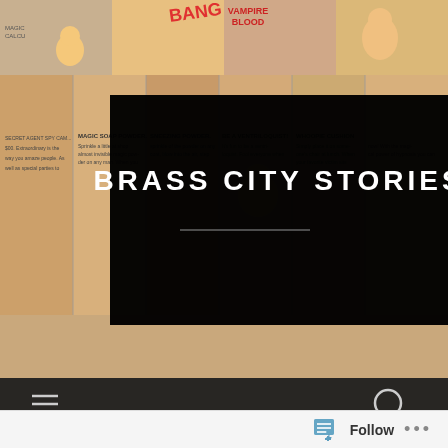[Figure (screenshot): Website header screenshot for 'Brass City Stories' blog showing a vintage comic book background image with old advertisement panels, overlaid by a large black banner with the site title 'BRASS CITY STORIES' in white bold letters, and a dark navigation bar at the bottom with hamburger menu and search icons.]
New Interview with the Comics Alternative
[Figure (screenshot): Bottom follow bar with a blue 'Follow' button with icon and three-dot menu.]